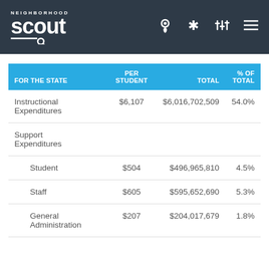Neighborhood Scout - navigation header
| FOR THE STATE | PER STUDENT | TOTAL | % OF TOTAL |
| --- | --- | --- | --- |
| Instructional Expenditures | $6,107 | $6,016,702,509 | 54.0% |
| Support Expenditures |  |  |  |
| Student | $504 | $496,965,810 | 4.5% |
| Staff | $605 | $595,652,690 | 5.3% |
| General Administration | $207 | $204,017,679 | 1.8% |